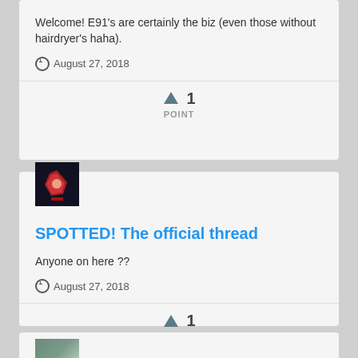Welcome! E91's are certainly the biz (even those without hairdryer's haha).
August 27, 2018
↑ 1 POINT
[Figure (photo): User avatar showing a red illuminated figure/logo on dark background]
SPOTTED! The official thread
Anyone on here ??
August 27, 2018
↑ 1 POINT
[Figure (photo): User avatar thumbnail showing a car on a road]